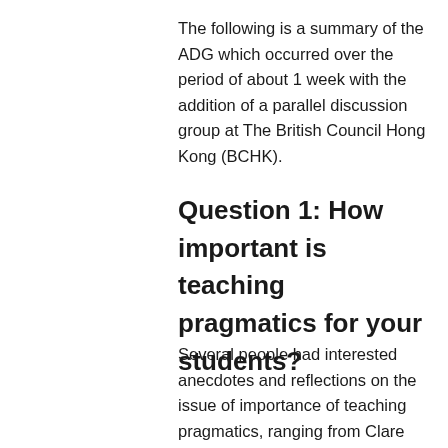The following is a summary of the ADG which occurred over the period of about 1 week with the addition of a parallel discussion group at The British Council Hong Kong (BCHK).
Question 1: How important is teaching pragmatics for your students?
Several people had interested anecdotes and reflections on the issue of importance of teaching pragmatics, ranging from Clare McGrath's experience of a Japanese student's confusion in